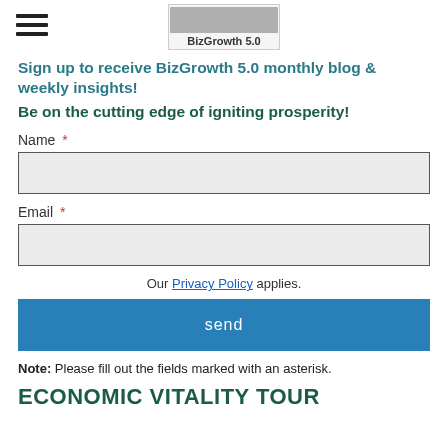[Figure (logo): BizGrowth 5.0 logo with photo above text]
Sign up to receive BizGrowth 5.0 monthly blog & weekly insights!
Be on the cutting edge of igniting prosperity!
Name *
Email *
Our Privacy Policy applies.
send
Note: Please fill out the fields marked with an asterisk.
ECONOMIC VITALITY TOUR